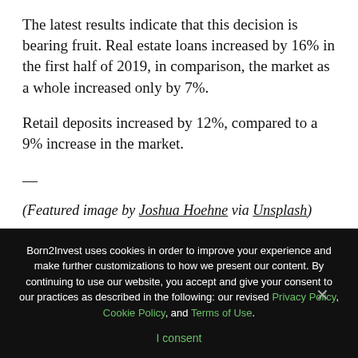The latest results indicate that this decision is bearing fruit. Real estate loans increased by 16% in the first half of 2019, in comparison, the market as a whole increased only by 7%.
Retail deposits increased by 12%, compared to a 9% increase in the market.
—
(Featured image by Joshua Hoehne via Unsplash)
DISCLAIMER: This article was written by a third party contributor and does not reflect the opinion of
Born2Invest uses cookies in order to improve your experience and make further customizations to how we present our content. By continuing to use our website, you accept and give your consent to our practices as described in the following: our revised Privacy Policy, Cookie Policy, and Terms of Use.
I consent